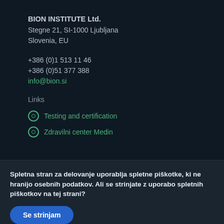BION INSTITUTE Ltd.
Stegne 21, SI-1000 Ljubljana
Slovenia, EU

+386 (0)1 513 11 46
+386 (0)51 377 388
info@bion.si
Links
Testing and certification
Zdravilni center Medin
Spletna stran za delovanje uporablja spletne piškotke, ki ne hranijo osebnih podatkov. Ali se strinjate z uporabo spletnih piškotkov na tej strani?
Se strinjam